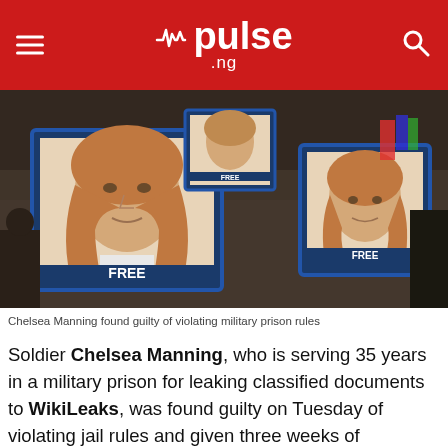pulse .ng
[Figure (photo): Protest scene showing demonstrators holding large signs with Chelsea Manning's photo and 'FREE' text, outdoors on a street]
Chelsea Manning found guilty of violating military prison rules
Soldier Chelsea Manning, who is serving 35 years in a military prison for leaking classified documents to WikiLeaks, was found guilty on Tuesday of violating jail rules and given three weeks of recreation curbs, the American Civil Liberties Union said.